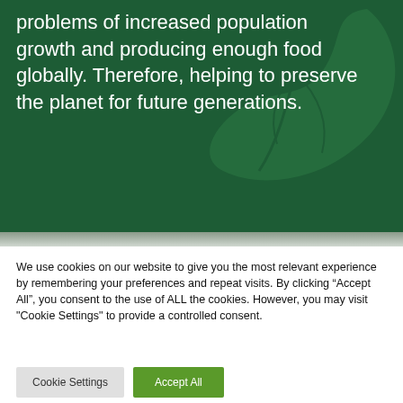problems of increased population growth and producing enough food globally. Therefore, helping to preserve the planet for future generations.
[Figure (illustration): Decorative green leaf/hand illustration overlaid on dark green background]
We use cookies on our website to give you the most relevant experience by remembering your preferences and repeat visits. By clicking “Accept All”, you consent to the use of ALL the cookies. However, you may visit "Cookie Settings" to provide a controlled consent.